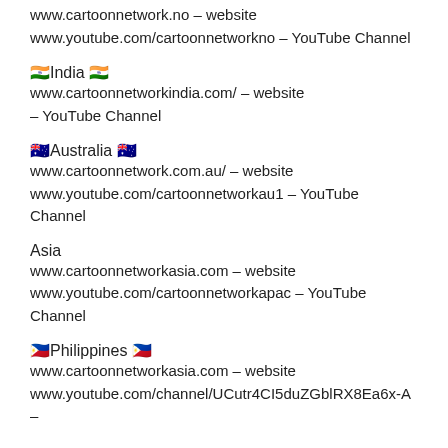www.cartoonnetwork.no – website
www.youtube.com/cartoonnetworkno – YouTube Channel
🇮🇳India 🇮🇳
www.cartoonnetworkindia.com/ – website
– YouTube Channel
🇦🇺Australia 🇦🇺
www.cartoonnetwork.com.au/ – website
www.youtube.com/cartoonnetworkau1 – YouTube Channel
Asia
www.cartoonnetworkasia.com – website
www.youtube.com/cartoonnetworkapac – YouTube Channel
🇵🇭Philippines 🇵🇭
www.cartoonnetworkasia.com – website
www.youtube.com/channel/UCutr4CI5duZGblRX8Ea6x-A –